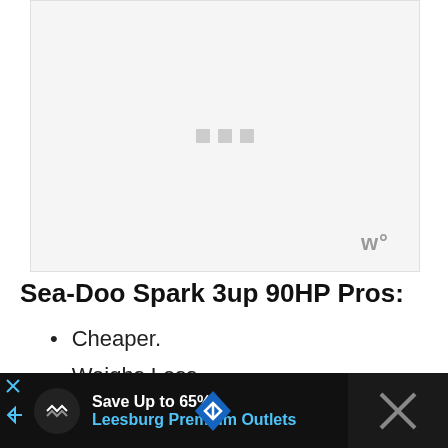[Figure (photo): Large image placeholder area with loading indicator (three small gray squares) centered and a watermark logo in bottom right corner. Background is light gray.]
Sea-Doo Spark 3up 90HP Pros:
Cheaper.
Weighs Less.
Driving modes.
[Figure (infographic): Advertisement banner at the bottom: Save Up to 65% Leesburg Premium Outlets, with a circular logo icon and navigation arrow icons.]